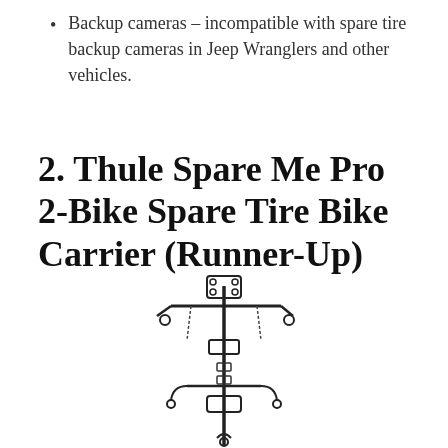Backup cameras – incompatible with spare tire backup cameras in Jeep Wranglers and other vehicles.
2. Thule Spare Me Pro 2-Bike Spare Tire Bike Carrier (Runner-Up)
[Figure (illustration): Black and white illustration of the Thule Spare Me Pro 2-Bike Spare Tire Bike Carrier, shown mounted vertically with bike attachment arms extended horizontally and hooks/straps visible.]